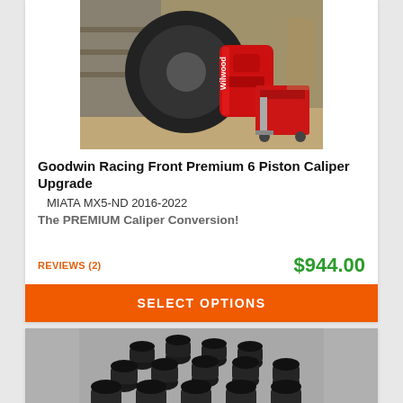[Figure (photo): Goodwin Racing front brake caliper upgrade product photo showing red 6-piston caliper on a vehicle wheel in a garage setting]
Goodwin Racing Front Premium 6 Piston Caliper Upgrade
MIATA MX5-ND 2016-2022
The PREMIUM Caliper Conversion!
REVIEWS (2)
$944.00
SELECT OPTIONS
[Figure (photo): Product photo showing black lug nuts spread out on a grey background]